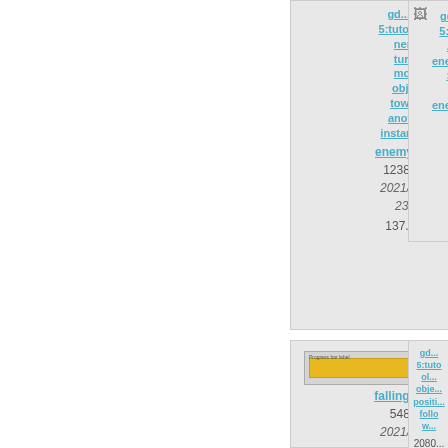[Figure (screenshot): File card showing a .png image link: gd...step 5:tutorials:enemy-turret-move-object-toward-another-instant.png with truncated label enemy-tur... and metadata 1238×928, 2021/11/22 23:06, 137.9 KB]
[Figure (screenshot): Partial file card on the right showing a broken image icon with partial link text gd...5:tuto...enemy...:k...enemy... and metadata 93:..., 2021/..., 23..., 2.9...]
[Figure (screenshot): File card showing a thumbnail image (yellow/orange progress bar) with truncated label falling_sta... and metadata 548×97, 2021/11/22]
[Figure (screenshot): Partial file card on the right showing a broken image icon with partial link text gd...5:tuto...ol...obje...positi...follow... and metadata 2080..., 2021...]